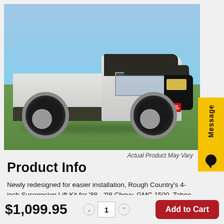[Figure (photo): White lifted Chevy/GMC pickup truck on grass field with blue sky background, showing large off-road tires and a Rough Country lift kit. Red license plate bracket visible on front bumper.]
Actual Product May Vary
Product Info
Newly redesigned for easier installation, Rough Country's 4-inch Suspension Lift Kit for '88 - '98 Chevy, GMC 1500, Tahoe, and Suburban models is an all-inclusive kit with everything you need to get rolling the right way at the
$1,099.95
1
Add to Cart